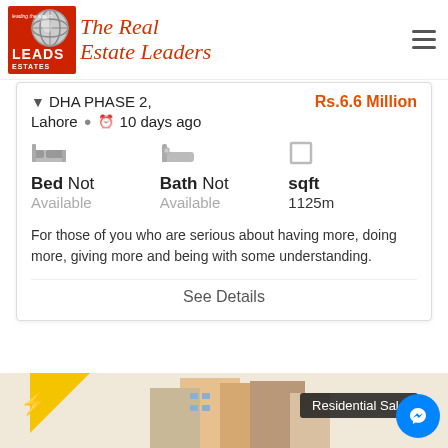[Figure (logo): Leads Estates logo with globe graphic and red background, alongside 'The Real Estate Leaders' italic text in red]
DHA PHASE 2, Lahore   10 days ago   Rs.6.6 Million
Bed Not Available   Bath Not Available   sqft 1125m
For those of you who are serious about having more, doing more, giving more and being with some understanding.
See Details
[Figure (photo): Residential building exterior photo with yellow lightning bolt badge, Residential Sale label overlay, and Facebook Messenger button]